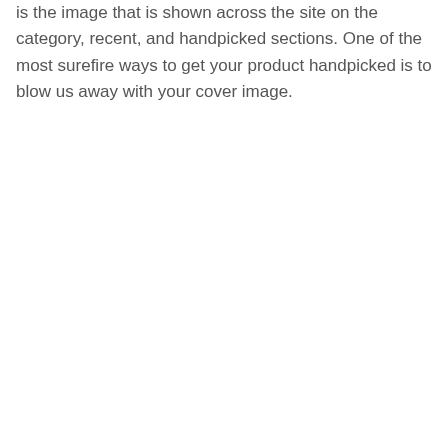is the image that is shown across the site on the category, recent, and handpicked sections. One of the most surefire ways to get your product handpicked is to blow us away with your cover image.